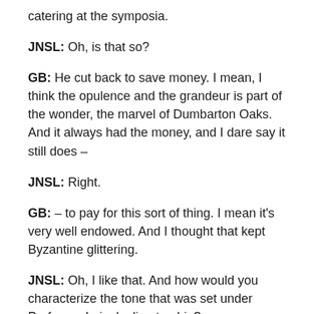catering at the symposia.
JNSL: Oh, is that so?
GB: He cut back to save money. I mean, I think the opulence and the grandeur is part of the wonder, the marvel of Dumbarton Oaks. And it always had the money, and I dare say it still does –
JNSL: Right.
GB: – to pay for this sort of thing. I mean it's very well endowed. And I thought that kept Byzantine glittering.
JNSL: Oh, I like that. And how would you characterize the tone that was set under Professor Laiou's directorship?
GB: Well she, she was a professional Byzantinist.